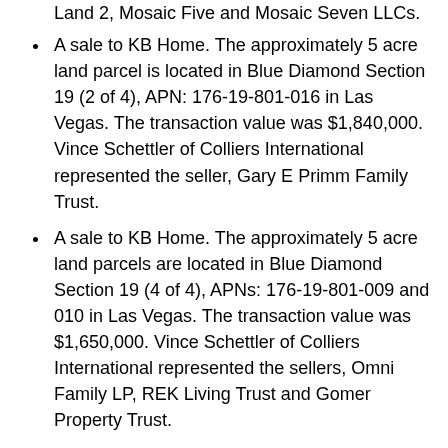Land 2, Mosaic Five and Mosaic Seven LLCs.
A sale to KB Home. The approximately 5 acre land parcel is located in Blue Diamond Section 19 (2 of 4), APN: 176-19-801-016 in Las Vegas. The transaction value was $1,840,000. Vince Schettler of Colliers International represented the seller, Gary E Primm Family Trust.
A sale to KB Home. The approximately 5 acre land parcels are located in Blue Diamond Section 19 (4 of 4), APNs: 176-19-801-009 and 010 in Las Vegas. The transaction value was $1,650,000. Vince Schettler of Colliers International represented the sellers, Omni Family LP, REK Living Trust and Gomer Property Trust.
A sale to KB Home. The approximately 2.06 acre land parcel is located in Blue Diamond Section 19 (3 of 4), APN: 176-19-801-012 in Las Vegas. The transaction value was $900,000. Vince Schettler of Colliers International represented the sellers, George Kuchuris,